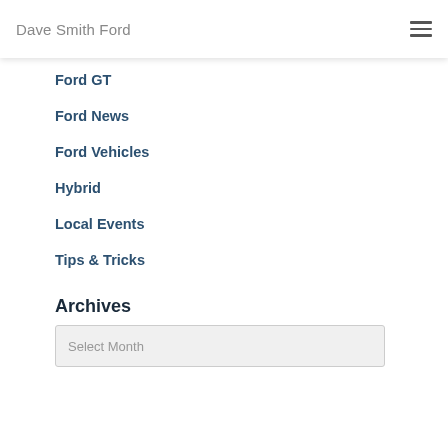Dave Smith Ford
Ford GT
Ford News
Ford Vehicles
Hybrid
Local Events
Tips & Tricks
Archives
Select Month